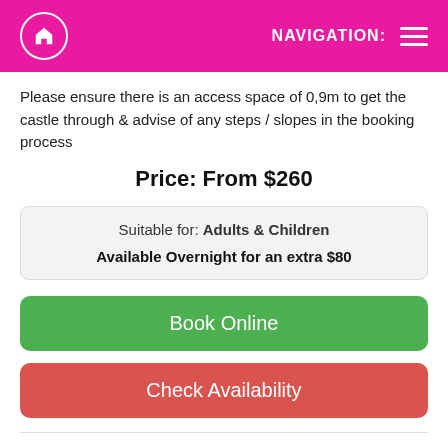NAVIGATION:
Please ensure there is an access space of 0,9m to get the castle through & advise of any steps / slopes in the booking process
Price: From $260
| Suitable for: Adults & Children |
| Available Overnight for an extra $80 |
Book Online
Check Availability
Super Castles Gold Coast offers Gold Coast & Surrounding Area's the most hassle free , Cheapest Jumping Castle Hire service. We also offer a huge range of other products including Large